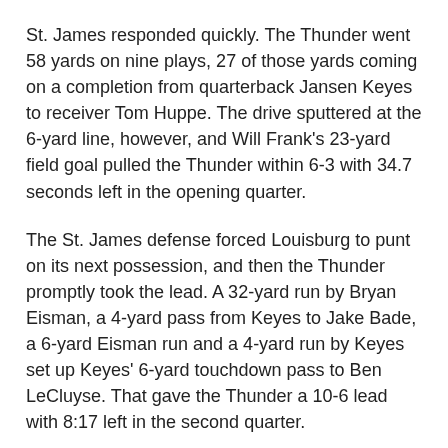St. James responded quickly. The Thunder went 58 yards on nine plays, 27 of those yards coming on a completion from quarterback Jansen Keyes to receiver Tom Huppe. The drive sputtered at the 6-yard line, however, and Will Frank's 23-yard field goal pulled the Thunder within 6-3 with 34.7 seconds left in the opening quarter.
The St. James defense forced Louisburg to punt on its next possession, and then the Thunder promptly took the lead. A 32-yard run by Bryan Eisman, a 4-yard pass from Keyes to Jake Bade, a 6-yard Eisman run and a 4-yard run by Keyes set up Keyes' 6-yard touchdown pass to Ben LeCluyse. That gave the Thunder a 10-6 lead with 8:17 left in the second quarter.
The teams traded punts, and then Louisburg put together a 74-yard scoring drive. Nick Chapman scored on a 3-yard run, and Jason Danciak kicked the extra point as the Wildcats took a 13-10 lead with 1:23 left in the quarter.